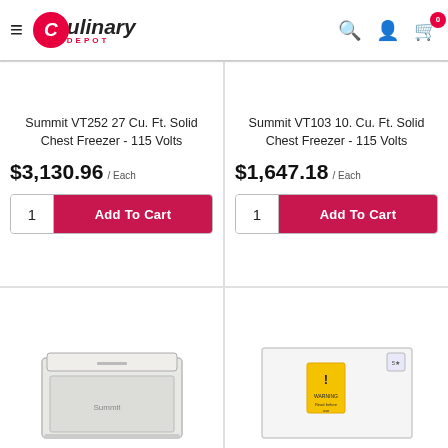[Figure (logo): Culinary Depot logo with red circle containing letter C and text 'ulinary DEPOT']
Summit VT252 27 Cu. Ft. Solid Chest Freezer - 115 Volts
$3,130.96 /Each
Add To Cart
Summit VT103 10. Cu. Ft. Solid Chest Freezer - 115 Volts
$1,647.18 /Each
Add To Cart
[Figure (photo): Partial view of a white chest freezer appliance]
[Figure (photo): Partial view of a white appliance with a yellow warning label]